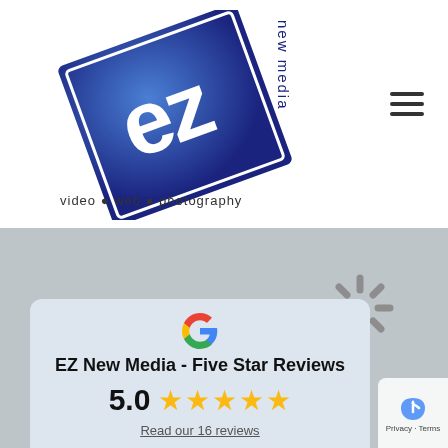[Figure (logo): EZ New Media logo — tilted blue square with 'ez' in white, 'new media' text rotated vertically, 'video • web • photography' tagline below]
[Figure (screenshot): Website screenshot showing Walmart logo in gray on textured background, with a Google review card overlay showing EZ New Media Five Star Reviews, rating 5.0 with 5 gold stars, and 'Read our 16 reviews' link]